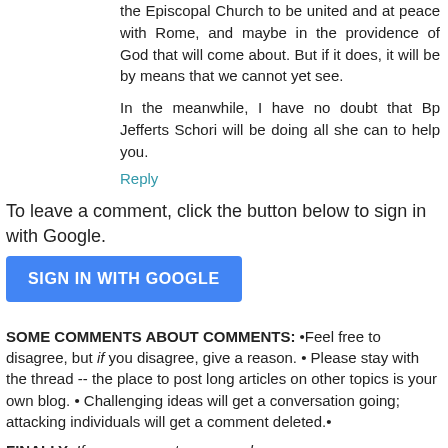the Episcopal Church to be united and at peace with Rome, and maybe in the providence of God that will come about. But if it does, it will be by means that we cannot yet see.
In the meanwhile, I have no doubt that Bp Jefferts Schori will be doing all she can to help you.
Reply
To leave a comment, click the button below to sign in with Google.
[Figure (other): Blue 'SIGN IN WITH GOOGLE' button]
SOME COMMENTS ABOUT COMMENTS: •Feel free to disagree, but if you disagree, give a reason. • Please stay with the thread -- the place to post long articles on other topics is your own blog. • Challenging ideas will get a conversation going; attacking individuals will get a comment deleted.•
FINALLY: If you comment, your words are yours